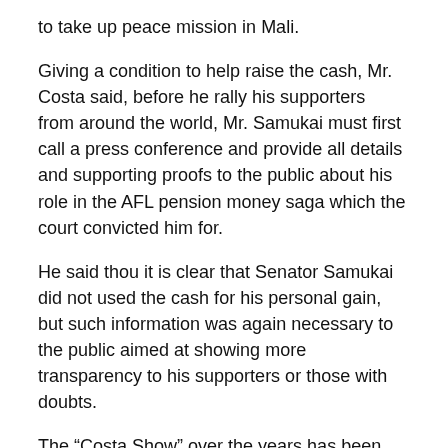to take up peace mission in Mali.
Giving a condition to help raise the cash, Mr. Costa said, before he rally his supporters  from around the world, Mr. Samukai must first call a press conference and provide all details and supporting proofs to the public about his role in the AFL pension money saga which the court convicted him for.
He said thou it is clear that Senator Samukai did not used the cash for his personal gain, but such information was again necessary to the public aimed at showing more transparency to his supporters or those with doubts.
The “Costa Show” over the years has been raising thousand of Liberian and United States dollars to help people in need of education, health, peaceful protest, political campaigns